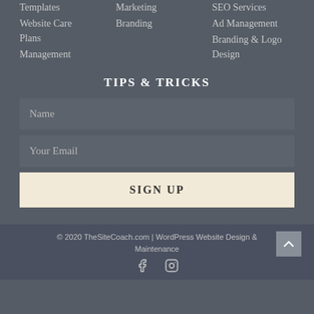Templates
Website Care Plans
Management
Marketing
Branding
SEO Services
Ad Management
Branding & Logo Design
TIPS & TRICKS
Name
Your Email
SIGN UP
© 2020 TheSiteCoach.com | WordPress Website Design & Maintenance